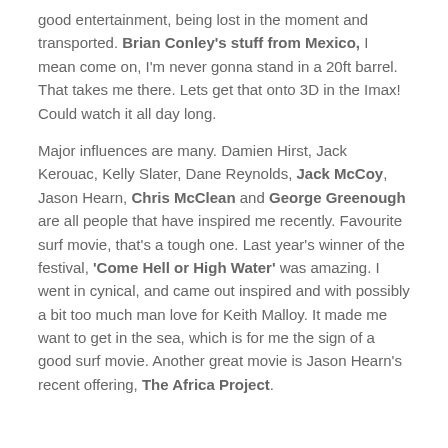good entertainment, being lost in the moment and transported. Brian Conley's stuff from Mexico, I mean come on, I'm never gonna stand in a 20ft barrel. That takes me there. Lets get that onto 3D in the Imax! Could watch it all day long.
Major influences are many. Damien Hirst, Jack Kerouac, Kelly Slater, Dane Reynolds, Jack McCoy, Jason Hearn, Chris McClean and George Greenough are all people that have inspired me recently. Favourite surf movie, that's a tough one. Last year's winner of the festival, 'Come Hell or High Water' was amazing. I went in cynical, and came out inspired and with possibly a bit too much man love for Keith Malloy. It made me want to get in the sea, which is for me the sign of a good surf movie. Another great movie is Jason Hearn's recent offering, The Africa Project.